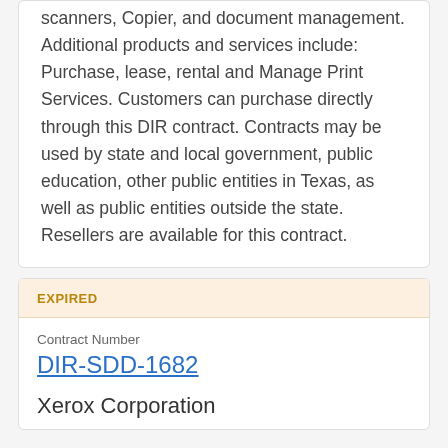scanners, Copier, and document management. Additional products and services include: Purchase, lease, rental and Manage Print Services. Customers can purchase directly through this DIR contract. Contracts may be used by state and local government, public education, other public entities in Texas, as well as public entities outside the state. Resellers are available for this contract.
EXPIRED
Contract Number
DIR-SDD-1682
Xerox Corporation